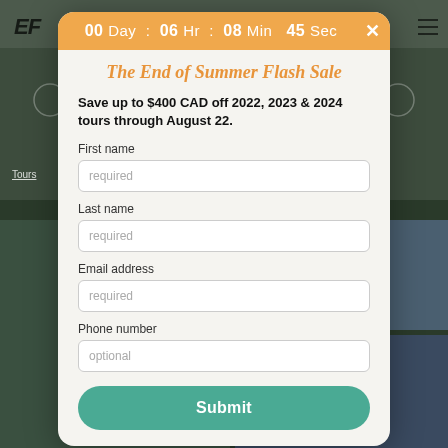[Figure (screenshot): Dark background showing a travel website with landscape photos and navigation bar behind a modal popup]
00 Day : 06 Hr : 08 Min : 45 Sec
The End of Summer Flash Sale
Save up to $400 CAD off 2022, 2023 & 2024 tours through August 22.
First name
required
Last name
required
Email address
required
Phone number
optional
Submit